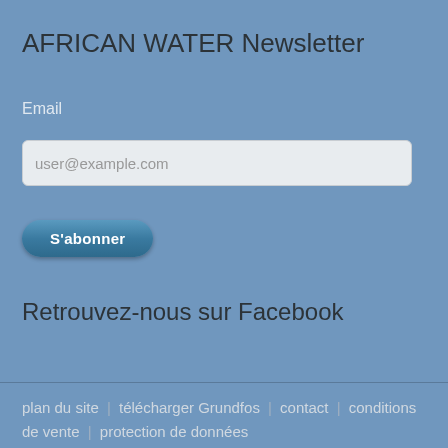AFRICAN WATER Newsletter
Email
user@example.com
S'abonner
Retrouvez-nous sur Facebook
plan du site | télécharger Grundfos | contact | conditions de vente | protection de données